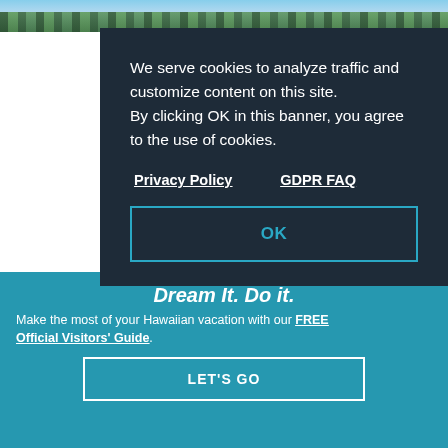[Figure (photo): Tropical beach scene with palm trees at top of page]
We serve cookies to analyze traffic and customize content on this site. By clicking OK in this banner, you agree to the use of cookies.
Privacy Policy    GDPR FAQ
OK
ONE MANELE BAY ROAD, LANAI CITY, HI 96763
Discover an oceanside paradise bordering a fish and ...
BACK TO TOP
Dream It. Do it.
Make the most of your Hawaiian vacation with our FREE Official Visitors' Guide.
LET'S GO
Learn More >